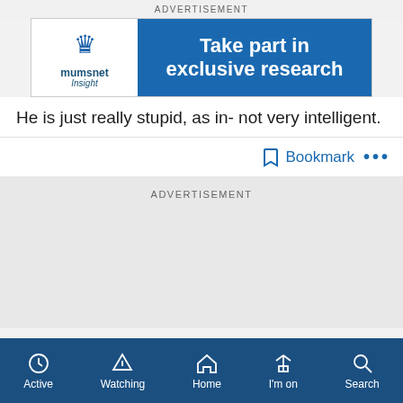ADVERTISEMENT
[Figure (illustration): Mumsnet Insight advertisement banner: logo on left with blue crown/figure icon and 'mumsnet insight' text, blue background on right with white text reading 'Take part in exclusive research']
He is just really stupid, as in- not very intelligent.
Bookmark ...
ADVERTISEMENT
Active  Watching  Home  I'm on  Search